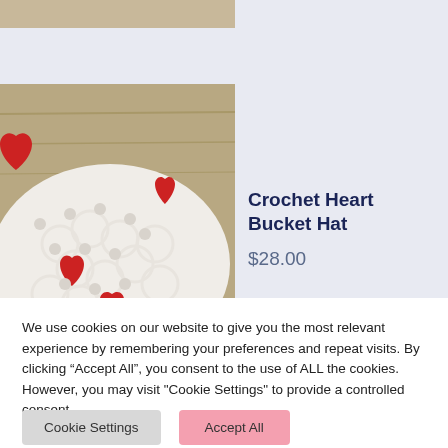[Figure (photo): Partial view of a crochet heart bucket hat showing white crochet fabric with red heart pattern, laid on a wooden surface. Top strip partial image.]
Crochet Heart Bucket Hat
$28.00
We use cookies on our website to give you the most relevant experience by remembering your preferences and repeat visits. By clicking “Accept All”, you consent to the use of ALL the cookies. However, you may visit "Cookie Settings" to provide a controlled consent.
Cookie Settings
Accept All